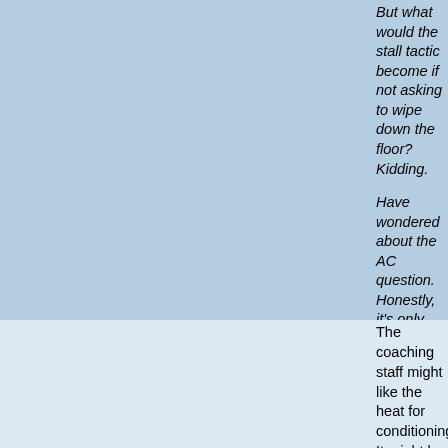But what would the stall tactic become if not asking to wipe down the floor? Kidding.

Have wondered about the AC question. Honestly, it's only needed for a couple weeks of the year. But for those weeks, it's a rather large impact. A difficult cost analysis. It would seem for a 'big time program', you have to act and feel like a big time program....
The coaching staff might like the heat for conditioning. It might be an easier solution to play a match or two at UD Arena if AC is the only thing in the way of a big time program coming in. Lately we have only hosted one pre-conference weekend and played 3 on the road. We never host more than 2 of the 4. There are other big names that come and play at Frerricks. We always seem to be able to put together a strong schedule when we have good teams. So AC probably isn't in the cards in the near future. Play a Sept match or 2 at UD Arena if you have to.
[Reply]
Chris R 12:37 AM 05-17-2022
Ive heard time and again from the players and staff -- both under Horsmon and Sheff -- that they preferred no A/C. They are used to it by season start because they practice in it all summer and they believe its a home court advantage. You cant really argue with UD's home record -- certainly in the A10 which is probably a 95% winning percentage in the last 10-15